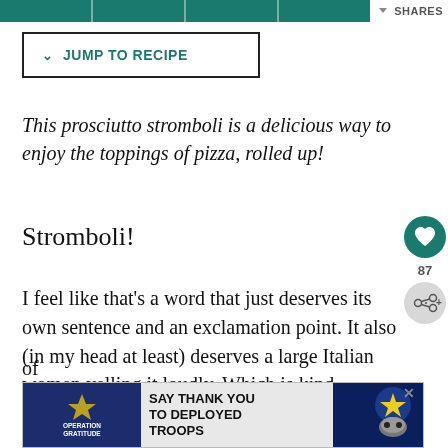[Figure (other): Social share buttons bar in teal/green color at top]
SHARES
✓ JUMP TO RECIPE
This prosciutto stromboli is a delicious way to enjoy the toppings of pizza, rolled up!
Stromboli!
I feel like that's a word that just deserves its own sentence and an exclamation point. It also (in my head at least) deserves a large Italian women yelling it loudly. Which is kind of...
[Figure (other): Advertisement banner: Operation Gratitude - SAY THANK YOU TO DEPLOYED TROOPS]